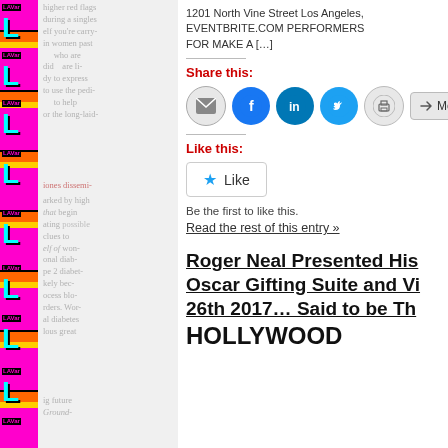[Figure (illustration): Decorative left strip with repeating pink/cyan/yellow LAVarZ branding pattern with large cyan 'L' letters]
1201 North Vine Street Los Angeles, EVENTBRITE.COM PERFORMERS FOR MAKE A [...]
Share this:
[Figure (infographic): Social share buttons: email, Facebook, LinkedIn, Twitter, print, and More circular icon buttons]
Like this:
[Figure (infographic): Like button with star icon]
Be the first to like this.
Read the rest of this entry »
Roger Neal Presented His Oscar Gifting Suite and Vi 26th 2017… Said to be Th HOLLYWOOD